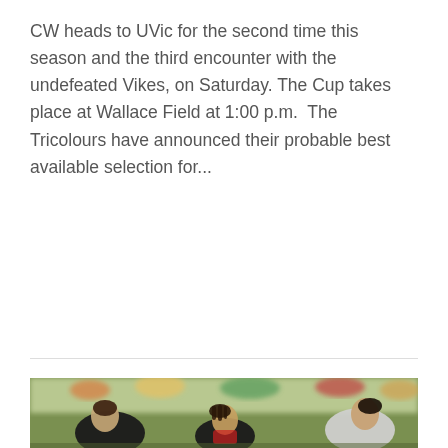CW heads to UVic for the second time this season and the third encounter with the undefeated Vikes, on Saturday. The Cup takes place at Wallace Field at 1:00 p.m.  The Tricolours have announced their probable best available selection for...
[Figure (photo): Women rugby players in action on a field, players in black and red uniforms crouching and running, crowd visible in the blurred background]